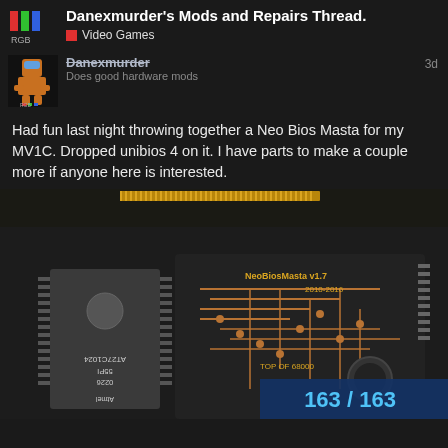Danexmurder's Mods and Repairs Thread.
Video Games
Danexmurder
Does good hardware mods
Had fun last night throwing together a Neo Bios Masta for my MV1C. Dropped unibios 4 on it. I have parts to make a couple more if anyone here is interested.
[Figure (photo): Close-up photo of a Neo Bios Masta v1.7 PCB (2010-2016) with text 'TOP OF 68000', alongside an Atmel AT27C1024 EPROM chip labeled 0226 55PI. The PCB shows copper traces on a dark substrate. A teal/blue overlay in the bottom right shows '163 / 163'.]
163 / 163